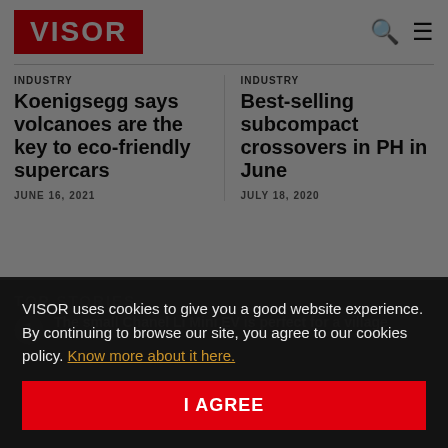VISOR
INDUSTRY
Koenigsegg says volcanoes are the key to eco-friendly supercars
JUNE 16, 2021
INDUSTRY
Best-selling subcompact crossovers in PH in June
JULY 18, 2020
TOP STORIES
The small Chanel Li Mini EV is perfect for a village
VISOR uses cookies to give you a good website experience. By continuing to browse our site, you agree to our cookies policy. Know more about it here.
I AGREE